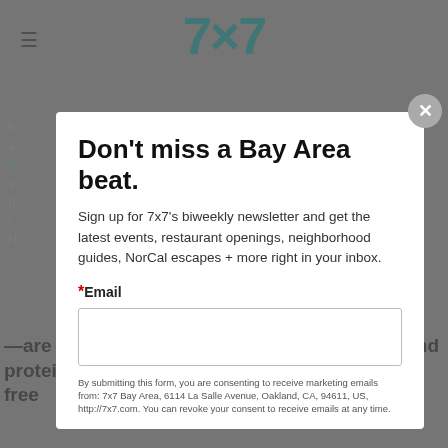7x7
Don't miss a Bay Area beat.
Sign up for 7x7's biweekly newsletter and get the latest events, restaurant openings, neighborhood guides, NorCal escapes + more right in your inbox.
*Email
By submitting this form, you are consenting to receive marketing emails from: 7x7 Bay Area, 6114 La Salle Avenue, Oakland, CA, 94611, US, http://7x7.com. You can revoke your consent to receive emails at any time.
—are flocking to the Bay to hack yeast cells and proteins to create (and taste-test) "slaughter-free